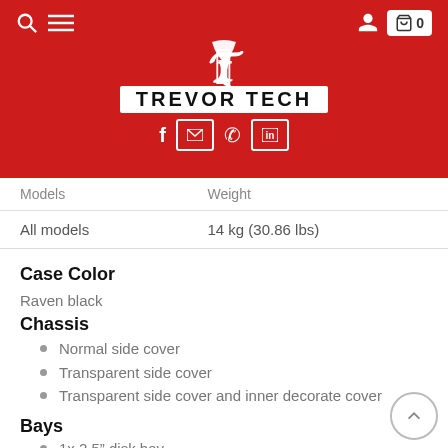TREVOR TECH
| Models | Weight |
| --- | --- |
| All models | 14 kg (30.86 lbs) |
Case Color
Raven black
Chassis
Normal side cover
Transparent side cover
Transparent side cover and inner decorate cover
Bays
1x 2.5" disk bay